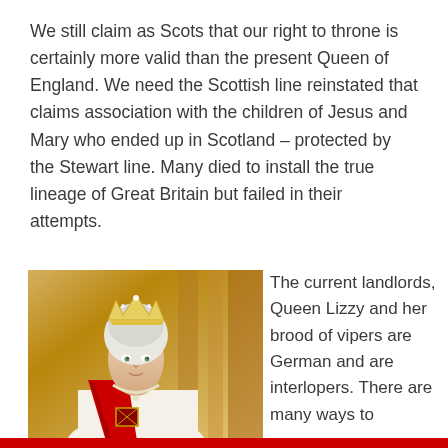We still claim as Scots that our right to throne is certainly more valid than the present Queen of England. We need the Scottish line reinstated that claims association with the children of Jesus and Mary who ended up in Scotland – protected by the Stewart line. Many died to install the true lineage of Great Britain but failed in their attempts.
[Figure (photo): Portrait photograph of Queen Elizabeth II wearing a crown/tiara, diamond necklace, and red sash with royal decorations, set against an ornate golden background.]
The current landlords, Queen Lizzy and her brood of vipers are German and are interlopers. There are many ways to